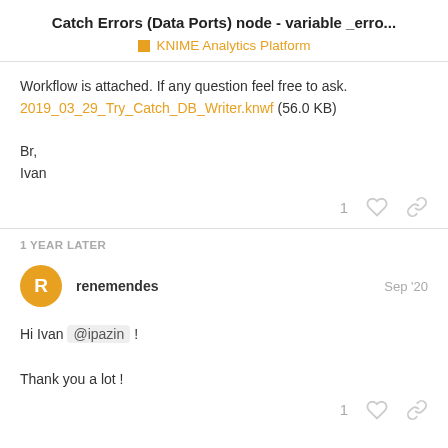Catch Errors (Data Ports) node - variable _erro...
KNIME Analytics Platform
Workflow is attached. If any question feel free to ask.
2019_03_29_Try_Catch_DB_Writer.knwf (56.0 KB)
Br,
Ivan
1 YEAR LATER
renemendes   Sep '20
Hi Ivan @ipazin !

Thank you a lot !